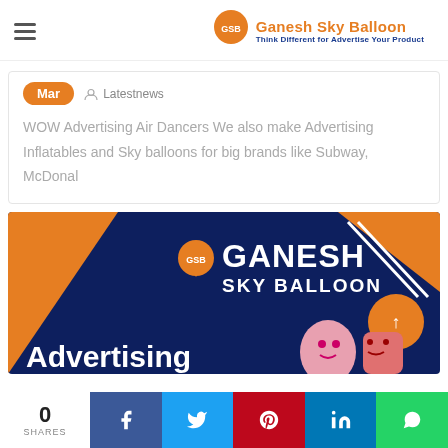Ganesh Sky Balloon — Think Different for Advertise Your Product
Mar  Latest news
WOW Advertising Air Dancers We also make Advertising Inflatables and Sky balloons for big brands like Subway, McDonal
[Figure (photo): Ganesh Sky Balloon banner with dark blue and orange design showing logo, 'Advertising' text, inflatable air dancer characters, and a back-to-top arrow button]
0 SHARES | Facebook | Twitter | Pinterest | LinkedIn | WhatsApp